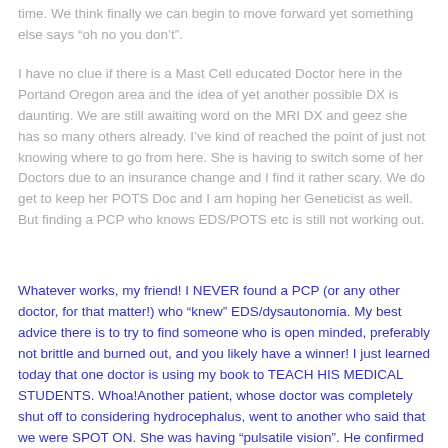time. We think finally we can begin to move forward yet something else says "oh no you don't".
I have no clue if there is a Mast Cell educated Doctor here in the Portand Oregon area and the idea of yet another possible DX is daunting. We are still awaiting word on the MRI DX and geez she has so many others already. I've kind of reached the point of just not knowing where to go from here. She is having to switch some of her Doctors due to an insurance change and I find it rather scary. We do get to keep her POTS Doc and I am hoping her Geneticist as well. But finding a PCP who knows EDS/POTS etc is still not working out.
Whatever works, my friend! I NEVER found a PCP (or any other doctor, for that matter!) who "knew" EDS/dysautonomia. My best advice there is to try to find someone who is open minded, preferably not brittle and burned out, and you likely have a winner! I just learned today that one doctor is using my book to TEACH HIS MEDICAL STUDENTS. Whoa!Another patient, whose doctor was completely shut off to considering hydrocephalus, went to another who said that we were SPOT ON. She was having "pulsatile vision". He confirmed that her vision changed with her pulse, and told her that doctors who are also patients are often times the ones to listen to because they LIVE these symptoms. Oh, and a doctor who hasn't forgotten what all medical